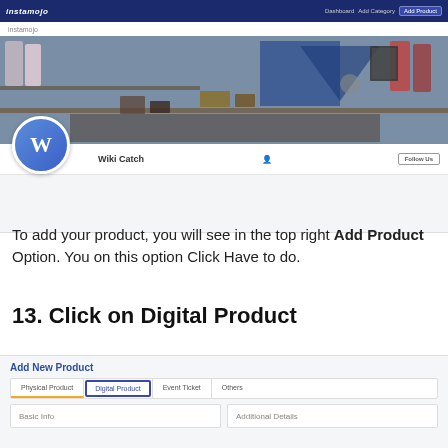[Figure (screenshot): Instamojo store page screenshot showing navigation bar with 'instamojo' logo, Dashboard, Add Category, Add Product links, a store banner image with shelf and clothing items, a circular 'W' logo for Wiki Catch store, store name 'Wiki Catch', a person icon and Follow Us button]
To add your product, you will see in the top right Add Product Option. You on this option Click Have to do.
13. Click on Digital Product
[Figure (screenshot): Add New Product UI section showing tabs: Physical Product (underlined orange), Digital Product (highlighted with blue border), Event Ticket, Others; and two form boxes: Basic Info and Additional Details]
Add New Product